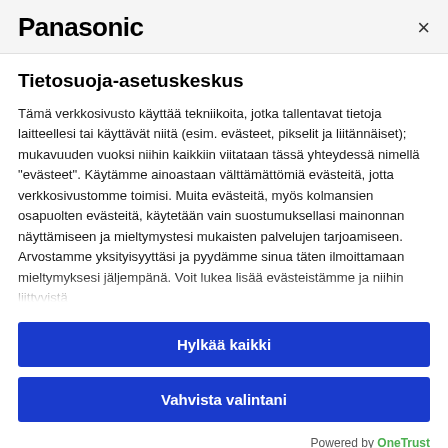Panasonic ×
Tietosuoja-asetuskeskus
Tämä verkkosivusto käyttää tekniikoita, jotka tallentavat tietoja laitteellesi tai käyttävät niitä (esim. evästeet, pikselit ja liitännäiset); mukavuuden vuoksi niihin kaikkiin viitataan tässä yhteydessä nimellä "evästeet". Käytämme ainoastaan välttämättömiä evästeitä, jotta verkkosivustomme toimisi. Muita evästeitä, myös kolmansien osapuolten evästeitä, käytetään vain suostumuksellasi mainonnan näyttämiseen ja mieltymystesi mukaisten palvelujen tarjoamiseen.  Arvostamme yksityisyyttäsi ja pyydämme sinua täten ilmoittamaan mieltymyksesi jäljempänä. Voit lukea lisää evästeistämme ja niihin liittyvistä
Hylkää kaikki
Vahvista valintani
Powered by OneTrust